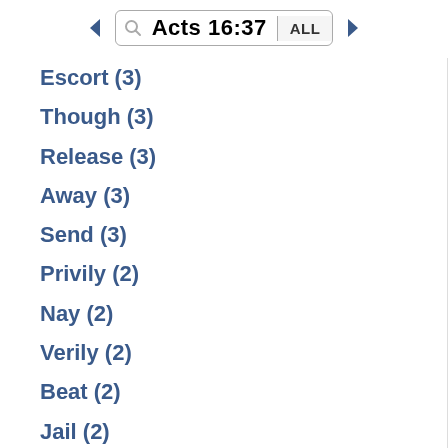Acts 16:37
Escort (3)
Though (3)
Release (3)
Away (3)
Send (3)
Privily (2)
Nay (2)
Verily (2)
Beat (2)
Jail (2)
Even (2)
Throw (2)
Privately (2)